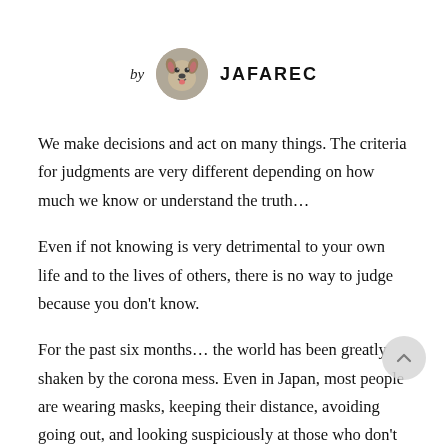[Figure (illustration): Author byline with circular avatar photo of a German Shepherd dog and bold uppercase author name 'JAFAREC' preceded by italic 'by']
We make decisions and act on many things. The criteria for judgments are very different depending on how much we know or understand the truth…
Even if not knowing is very detrimental to your own life and to the lives of others, there is no way to judge because you don't know.
For the past six months… the world has been greatly shaken by the corona mess. Even in Japan, most people are wearing masks, keeping their distance, avoiding going out, and looking suspiciously at those who don't do self-restraint.